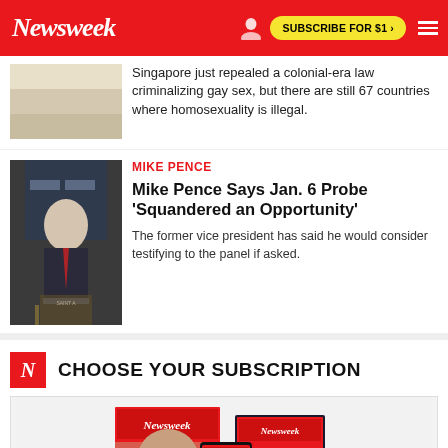Newsweek — SUBSCRIBE FOR $1 >
Singapore just repealed a colonial-era law criminalizing gay sex, but there are still 67 countries where homosexuality is illegal.
MIKE PENCE
Mike Pence Says Jan. 6 Probe 'Squandered an Opportunity'
The former vice president has said he would consider testifying to the panel if asked.
CHOOSE YOUR SUBSCRIPTION
[Figure (illustration): Newsweek magazine covers and digital device showing subscription options including covers about Putin's End and Doomsday Variant]